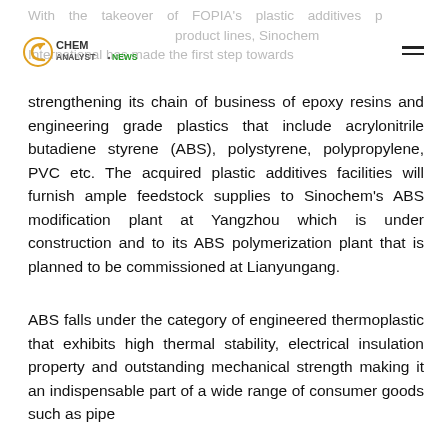With the takeover of FOPIA's plastic additives product lines, Sinochem International has made the first step towards
[Figure (logo): ChemAnalyst News logo with circular icon and green text]
strengthening its chain of business of epoxy resins and engineering grade plastics that include acrylonitrile butadiene styrene (ABS), polystyrene, polypropylene, PVC etc. The acquired plastic additives facilities will furnish ample feedstock supplies to Sinochem's ABS modification plant at Yangzhou which is under construction and to its ABS polymerization plant that is planned to be commissioned at Lianyungang.
ABS falls under the category of engineered thermoplastic that exhibits high thermal stability, electrical insulation property and outstanding mechanical strength making it an indispensable part of a wide range of consumer goods such as pipe